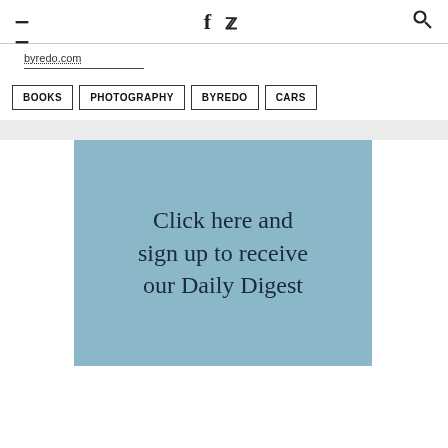≡  f  𝕏  🔍
byredo.com
BOOKS
PHOTOGRAPHY
BYREDO
CARS
[Figure (infographic): Light blue promotional banner with text: Click here and sign up to receive our Daily Digest]